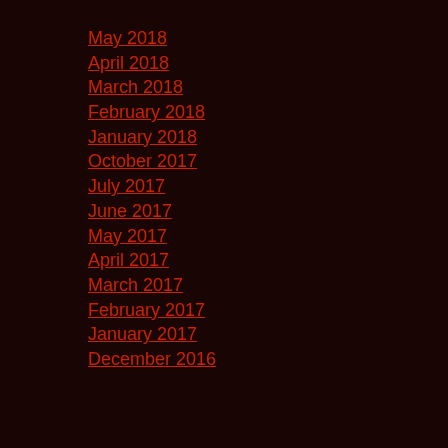May 2018
April 2018
March 2018
February 2018
January 2018
October 2017
July 2017
June 2017
May 2017
April 2017
March 2017
February 2017
January 2017
December 2016